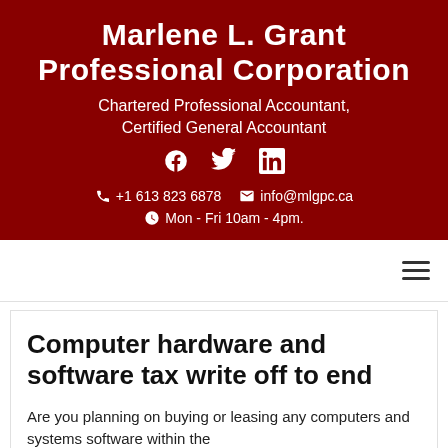Marlene L. Grant Professional Corporation
Chartered Professional Accountant, Certified General Accountant
+1 613 823 6878  info@mlgpc.ca  Mon - Fri 10am - 4pm.
Computer hardware and software tax write off to end
Are you planning on buying or leasing any computers and systems software within the